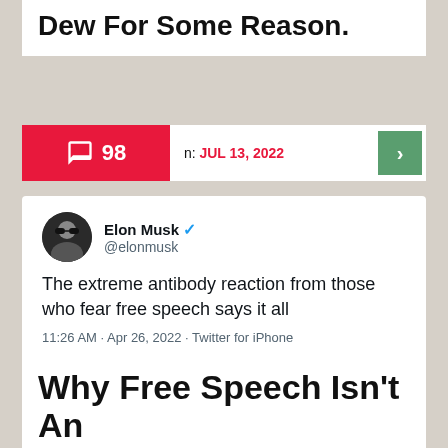Dew For Some Reason.
n: JUL 13, 2022
[Figure (screenshot): Tweet by Elon Musk (@elonmusk) verified account: 'The extreme antibody reaction from those who fear free speech says it all' posted 11:26 AM · Apr 26, 2022 · Twitter for iPhone. Stats: 207.2K Retweets, 18.6K Quote Tweets, 1.6M Likes.]
Why Free Speech Isn't An Excuse